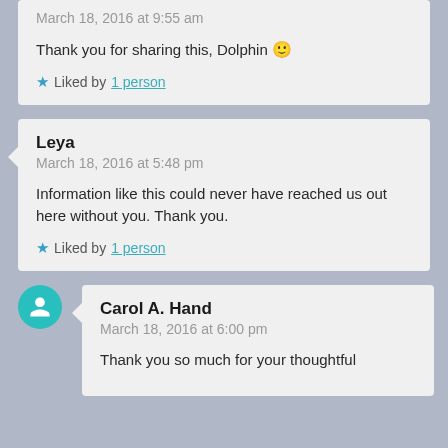March 18, 2016 at 9:55 am
Thank you for sharing this, Dolphin 🙂
Liked by 1 person
Leya
March 18, 2016 at 5:48 pm
Information like this could never have reached us out here without you. Thank you.
Liked by 1 person
Carol A. Hand
March 18, 2016 at 6:00 pm
Thank you so much for your thoughtful